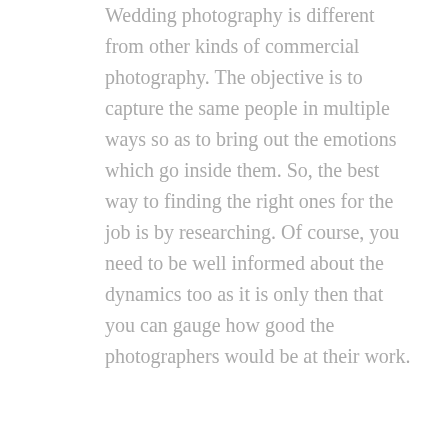Wedding photography is different from other kinds of commercial photography. The objective is to capture the same people in multiple ways so as to bring out the emotions which go inside them. So, the best way to finding the right ones for the job is by researching. Of course, you need to be well informed about the dynamics too as it is only then that you can gauge how good the photographers would be at their work.